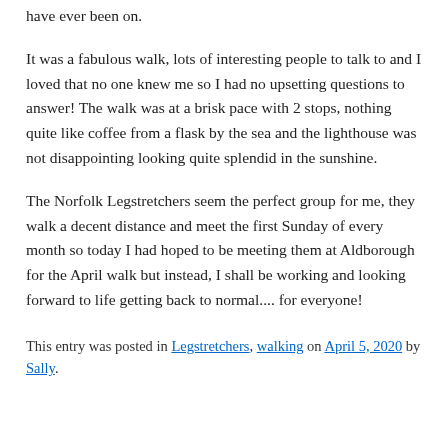have ever been on.
It was a fabulous walk, lots of interesting people to talk to and I loved that no one knew me so I had no upsetting questions to answer! The walk was at a brisk pace with 2 stops, nothing quite like coffee from a flask by the sea and the lighthouse was not disappointing looking quite splendid in the sunshine.
The Norfolk Legstretchers seem the perfect group for me, they walk a decent distance and meet the first Sunday of every month so today I had hoped to be meeting them at Aldborough for the April walk but instead, I shall be working and looking forward to life getting back to normal.... for everyone!
This entry was posted in Legstretchers, walking on April 5, 2020 by Sally.